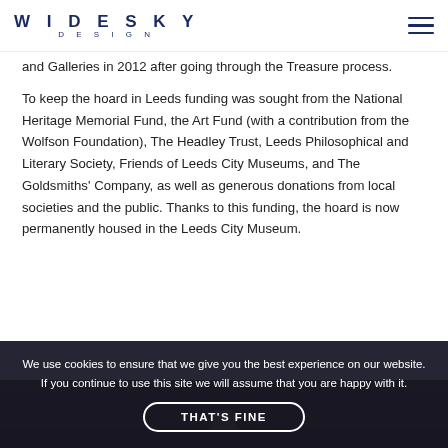WIDESKY DESIGN
and Galleries in 2012 after going through the Treasure process.
To keep the hoard in Leeds funding was sought from the National Heritage Memorial Fund, the Art Fund (with a contribution from the Wolfson Foundation), The Headley Trust, Leeds Philosophical and Literary Society, Friends of Leeds City Museums, and The Goldsmiths' Company, as well as generous donations from local societies and the public. Thanks to this funding, the hoard is now permanently housed in the Leeds City Museum.
[Figure (photo): Partial view of a dark brownish/golden object or display, bottom strip of page]
We use cookies to ensure that we give you the best experience on our website. If you continue to use this site we will assume that you are happy with it.
THAT'S FINE